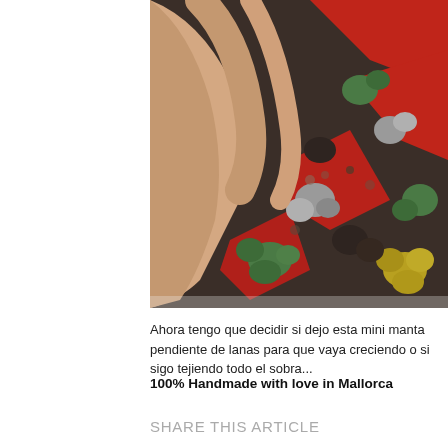[Figure (photo): Close-up photo of a colorful crochet granny square blanket being held by a hand. The crochet work features squares made with dark brown/charcoal yarn as the base, with colorful yarn clusters in red, green, grey/white, and yellow.]
Ahora tengo que decidir si dejo esta mini manta pendiente de lanas para que vaya creciendo o si sigo tejiendo todo el que sobra...
100% Handmade with love in Mallorca
SHARE THIS ARTICLE